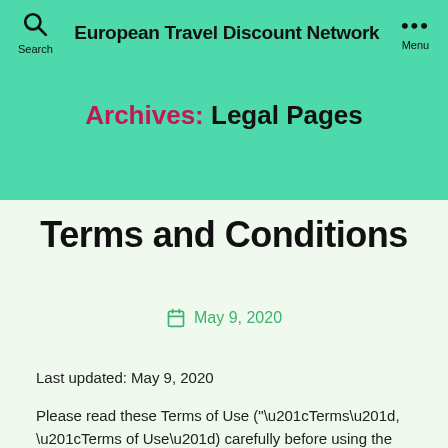European Travel Discount Network
Archives: Legal Pages
Terms and Conditions
May 9, 2020
Last updated: May 9, 2020
Please read these Terms of Use (“Terms”, “Terms of Use”) carefully before using the http://etdn.biz website